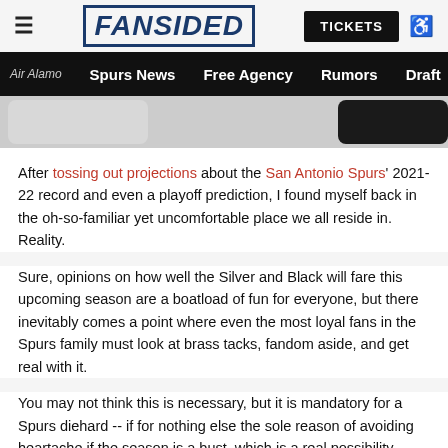FANSIDED | TICKETS
Air Alamo | Spurs News | Free Agency | Rumors | Draft | His
After tossing out projections about the San Antonio Spurs' 2021-22 record and even a playoff prediction, I found myself back in the oh-so-familiar yet uncomfortable place we all reside in. Reality.
Sure, opinions on how well the Silver and Black will fare this upcoming season are a boatload of fun for everyone, but there inevitably comes a point where even the most loyal fans in the Spurs family must look at brass tacks, fandom aside, and get real with it.
You may not think this is necessary, but it is mandatory for a Spurs diehard -- if for nothing else the sole reason of avoiding heartache if the season is a bust, which is a real possibility given the roster shake-ups and youth movement the franchise experienced this summer. The question we must answer is simple.
Do the San Antonio Spurs have